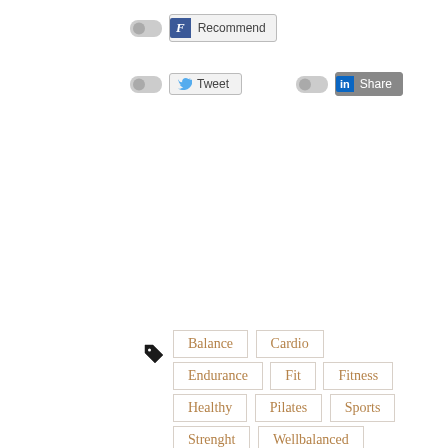[Figure (screenshot): Social sharing buttons: Facebook Recommend, Twitter Tweet, LinkedIn Share, each with toggle switches]
[Figure (infographic): Tag cloud with fitness-related tags: Balance, Cardio, Endurance, Fit, Fitness, Healthy, Pilates, Sports, Strenght, Wellbalanced, Workout]
0
« Previous Post
Verschiede Trainingsarten miteinander kombinieren? Ja oder